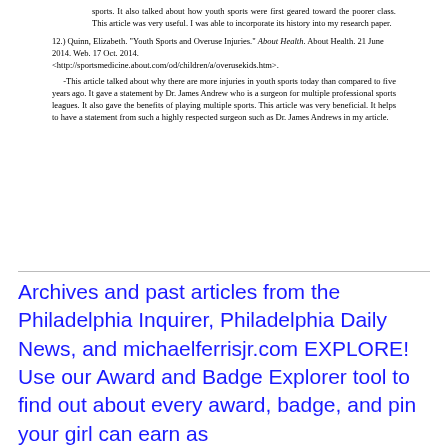sports. It also talked about how youth sports were first geared toward the poorer class. This article was very useful. I was able to incorporate its history into my research paper.
12.) Quinn, Elizabeth. "Youth Sports and Overuse Injuries." About Health. About Health. 21 June 2014. Web. 17 Oct. 2014. <http://sportsmedicine.about.com/od/children/a/overusekids.htm>.
-This article talked about why there are more injuries in youth sports today than compared to five years ago. It gave a statement by Dr. James Andrew who is a surgeon for multiple professional sports leagues. It also gave the benefits of playing multiple sports. This article was very beneficial. It helps to have a statement from such a highly respected surgeon such as Dr. James Andrews in my article.
15
Archives and past articles from the Philadelphia Inquirer, Philadelphia Daily News, and michaelferrisjr.com EXPLORE! Use our Award and Badge Explorer tool to find out about every award, badge, and pin your girl can earn as